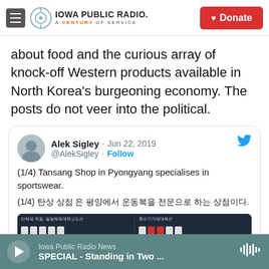Iowa Public Radio. A Century of Service | Donate
about food and the curious array of knock-off Western products available in North Korea's burgeoning economy. The posts do not veer into the political.
[Figure (screenshot): Embedded tweet from Alek Sigley (@AlekSigley) dated Jun 22, 2019 with text: (1/4) Tansang Shop in Pyongyang specialises in sportswear. Korean translation below. Followed by an image showing people in sportswear.]
Iowa Public Radio News | SPECIAL - Standing in Two ...